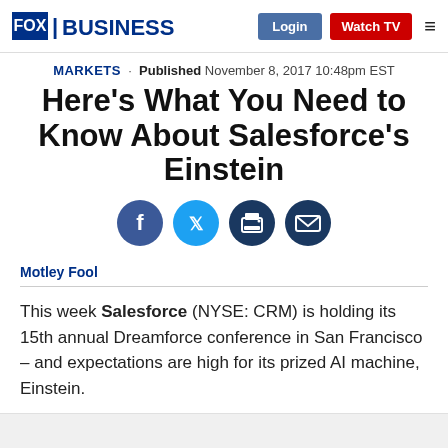FOX BUSINESS | Login | Watch TV
MARKETS · Published November 8, 2017 10:48pm EST
Here's What You Need to Know About Salesforce's Einstein
[Figure (infographic): Social sharing icons: Facebook (blue), Twitter (light blue), Print (dark blue), Email (dark blue)]
Motley Fool
This week Salesforce (NYSE: CRM) is holding its 15th annual Dreamforce conference in San Francisco – and expectations are high for its prized AI machine, Einstein.